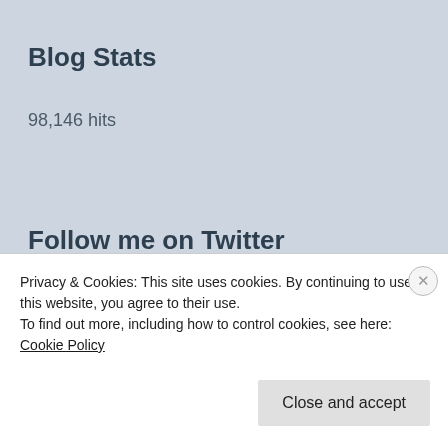Blog Stats
98,146 hits
Follow me on Twitter
My Tweets
Advertisements
Privacy & Cookies: This site uses cookies. By continuing to use this website, you agree to their use.
To find out more, including how to control cookies, see here: Cookie Policy
Close and accept